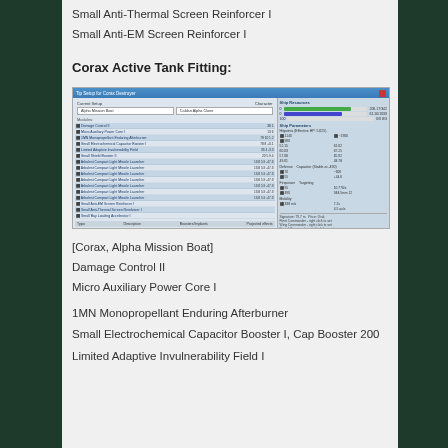Small Anti-Thermal Screen Reinforcer I
Small Anti-EM Screen Reinforcer I
Corax Active Tank Fitting:
[Figure (screenshot): Eve Online ship fitting tool screenshot showing Corax Destroyer setup with Alpha Mission Boat configuration, modules list including Damage Control II, Micro Auxiliary Power Core I, launchers, and ship statistics panel on the right.]
[Corax, Alpha Mission Boat]
Damage Control II
Micro Auxiliary Power Core I
1MN Monopropellant Enduring Afterburner
Small Electrochemical Capacitor Booster I, Cap Booster 200
Limited Adaptive Invulnerability Field I